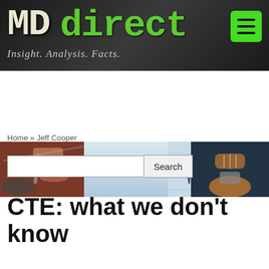[Figure (logo): MD direct logo with tagline 'Insight. Analysis. Facts.' on dark textured background with green hamburger menu button]
[Figure (photo): Sports medicine banner showing cyclist, ECG heart monitor graph, and football equipment]
Home » Jeff Cooper
[Figure (other): Search input box with Search button]
CTE: what we don't know